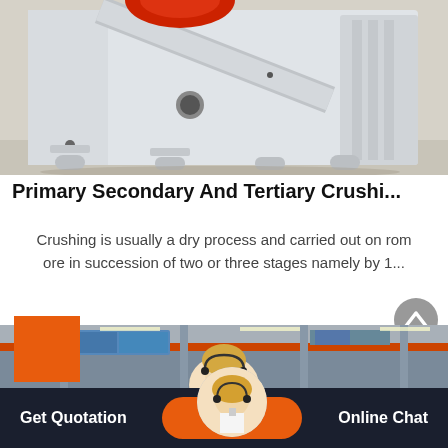[Figure (photo): Industrial jaw crusher machine, white colored, large heavy equipment sitting on a concrete floor in a factory/warehouse setting. Red wheel visible at top.]
Primary Secondary And Tertiary Crushi...
Crushing is usually a dry process and carried out on rom ore in succession of two or three stages namely by 1...
[Figure (photo): Factory interior with overhead crane, industrial warehouse with blue windows and support structures, woman with headset visible in foreground.]
Get Quotation   Online Chat